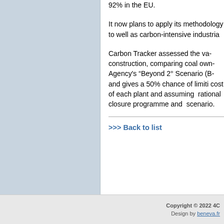about our plant utilisation rates... 92% in the EU.
It now plans to apply its methodology... as well as carbon-intensive industrial...
Carbon Tracker assessed the va... construction, comparing coal own... Agency's “Beyond 2° Scenario (B... and gives a 50% chance of limiti... cost of each plant and assuming... rational closure programme and... scenario.
>>> Back to list
Copyright © 2022 4C... Design by beneva.fr